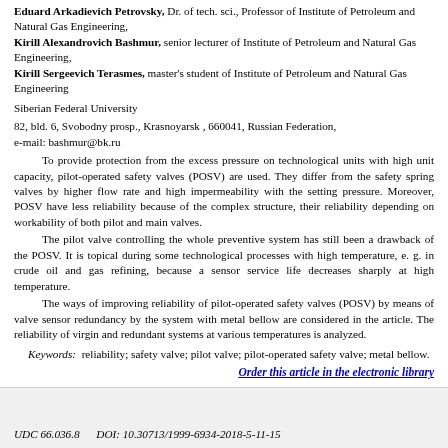Eduard Arkadievich Petrovsky, Dr. of tech. sci., Professor of Institute of Petroleum and Natural Gas Engineering,
Kirill Alexandrovich Bashmur, senior lecturer of Institute of Petroleum and Natural Gas Engineering,
Kirill Sergeevich Terasmes, master's student of Institute of Petroleum and Natural Gas Engineering
Siberian Federal University
82, bld. 6, Svobodny prosp., Krasnoyarsk , 660041, Russian Federation, e-mail: bashmur@bk.ru
To provide protection from the excess pressure on technological units with high unit capacity, pilot-operated safety valves (POSV) are used. They differ from the safety spring valves by higher flow rate and high impermeability with the setting pressure. Moreover, POSV have less reliability because of the complex structure, their reliability depending on workability of both pilot and main valves.
The pilot valve controlling the whole preventive system has still been a drawback of the POSV. It is topical during some technological processes with high temperature, e. g. in crude oil and gas refining, because a sensor service life decreases sharply at high temperature.
The ways of improving reliability of pilot-operated safety valves (POSV) by means of valve sensor redundancy by the system with metal bellow are considered in the article. The reliability of virgin and redundant systems at various temperatures is analyzed.
Keywords: reliability; safety valve; pilot valve; pilot-operated safety valve; metal bellow.
Order this article in the electronic library
UDC 66.036.8    DOI: 10.30713/1999-6934-2018-5-11-15